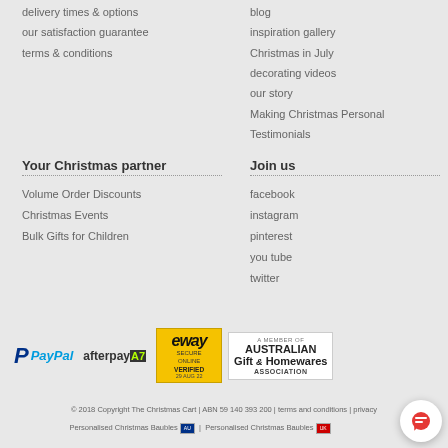delivery times & options
our satisfaction guarantee
terms & conditions
blog
inspiration gallery
Christmas in July
decorating videos
our story
Making Christmas Personal
Testimonials
Your Christmas partner
Volume Order Discounts
Christmas Events
Bulk Gifts for Children
Join us
facebook
instagram
pinterest
you tube
twitter
[Figure (logo): PayPal logo, Afterpay logo, eWay secure online verified badge, Australian Gift & Homewares Association member badge]
© 2018 Copyright The Christmas Cart | ABN 59 140 393 200 | terms and conditions | privacy
Personalised Christmas Baubles [AU flag] | Personalised Christmas Baubles [UK flag]